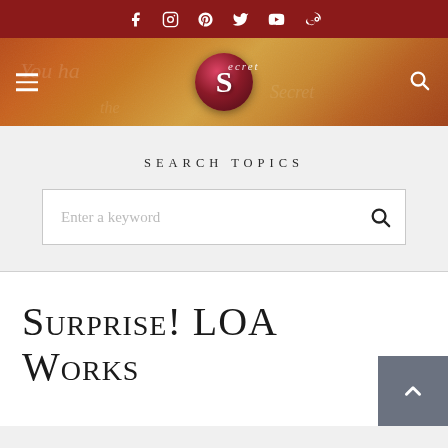Social media icons bar: Facebook, Instagram, Pinterest, Twitter, YouTube, Weibo
[Figure (logo): The Secret website header banner with logo - red circular S emblem with cursive 'Secret' text on decorative golden-orange textured background, with hamburger menu icon on left and search icon on right]
Search Topics
Enter a keyword (search box)
Surprise! LOA Works